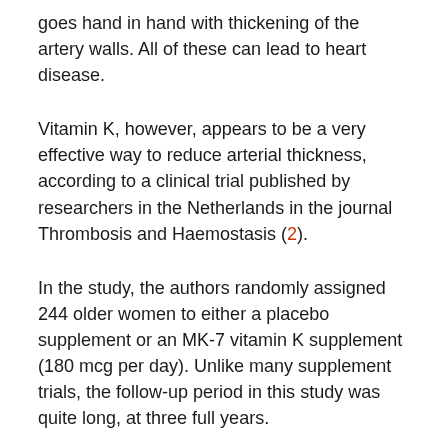goes hand in hand with thickening of the artery walls. All of these can lead to heart disease.
Vitamin K, however, appears to be a very effective way to reduce arterial thickness, according to a clinical trial published by researchers in the Netherlands in the journal Thrombosis and Haemostasis (2).
In the study, the authors randomly assigned 244 older women to either a placebo supplement or an MK-7 vitamin K supplement (180 mcg per day). Unlike many supplement trials, the follow-up period in this study was quite long, at three full years.
The researchers used advanced imaging techniques to objectively measure the stiffness of the aorta, the